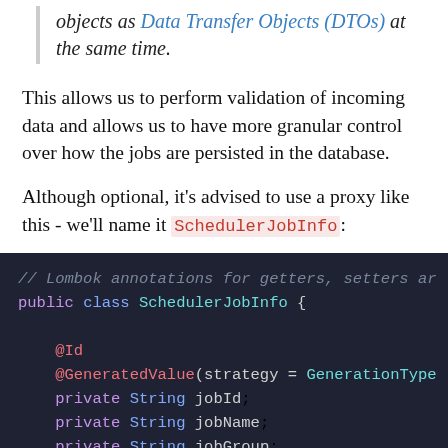objects as Data Transfer Objects (DTOs) at the same time.
This allows us to perform validation of incoming data and allows us to have more granular control over how the jobs are persisted in the database.
Although optional, it's advised to use a proxy like this - we'll name it SchedulerJobInfo:
[Figure (screenshot): Code block showing Java class definition: // Lombok annotations for getters, setters ar... public class SchedulerJobInfo { @Id @GeneratedValue(strategy = GenerationType... private String jobId; private String jobName; private String jobGroup; private String jobStatus;]